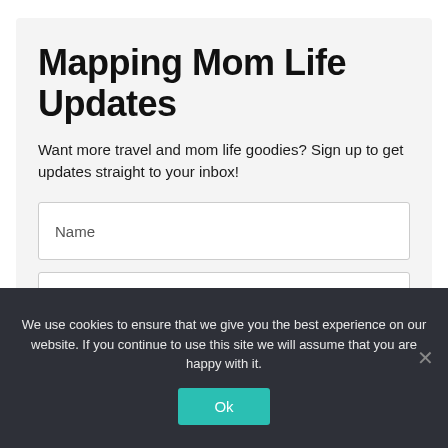Mapping Mom Life Updates
Want more travel and mom life goodies? Sign up to get updates straight to your inbox!
Name
Email
We use cookies to ensure that we give you the best experience on our website. If you continue to use this site we will assume that you are happy with it.
Ok